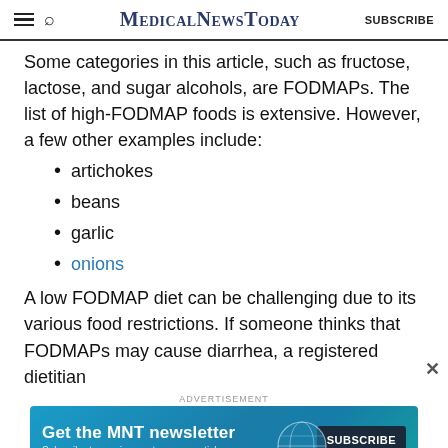MedicalNewsToday | SUBSCRIBE
Some categories in this article, such as fructose, lactose, and sugar alcohols, are FODMAPs. The list of high-FODMAP foods is extensive. However, a few other examples include:
artichokes
beans
garlic
onions
A low FODMAP diet can be challenging due to its various food restrictions. If someone thinks that FODMAPs may cause diarrhea, a registered dietitian
ADVERTISEMENT
[Figure (infographic): MNT newsletter advertisement banner: Get the MNT newsletter. Subscribe to receive our top news articles. SUBSCRIBE button.]